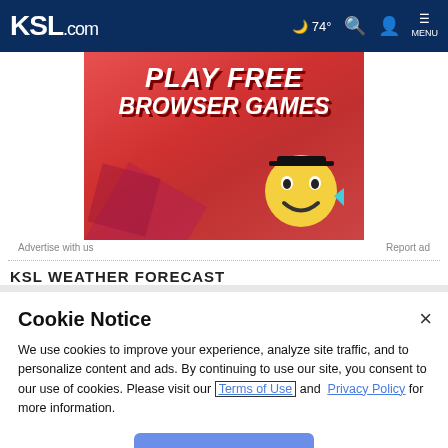KSL.com  74°  MENU
[Figure (photo): Advertisement banner with pink/red background showing 'PLAY FREE BROWSER GAMES' text with a yellow smiley face emoji character]
Advertise with us    Report ad
KSL WEATHER FORECAST
Cookie Notice
We use cookies to improve your experience, analyze site traffic, and to personalize content and ads. By continuing to use our site, you consent to our use of cookies. Please visit our Terms of Use and Privacy Policy for more information.
Continue